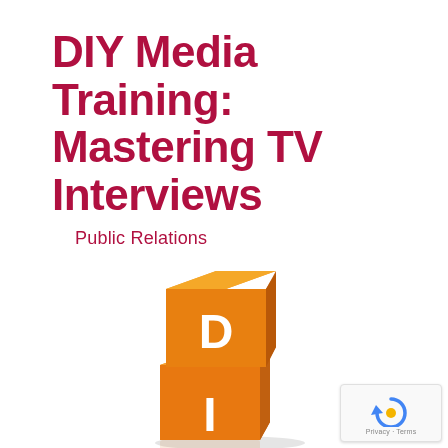DIY Media Training: Mastering TV Interviews
Public Relations
[Figure (illustration): Two stacked orange 3D letter blocks. The top block shows the letter D on its face, and the bottom block shows the letter I on its face, appearing to spell 'DI'. Both cubes are orange with white letters, rendered in a 3D perspective with shadows and reflections on a white background.]